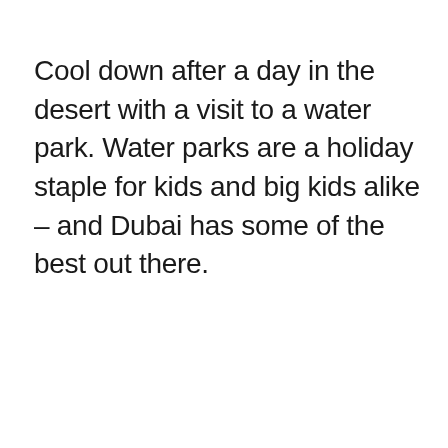Cool down after a day in the desert with a visit to a water park. Water parks are a holiday staple for kids and big kids alike – and Dubai has some of the best out there.